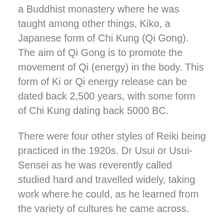a Buddhist monastery where he was taught among other things, Kiko, a Japanese form of Chi Kung (Qi Gong). The aim of Qi Gong is to promote the movement of Qi (energy) in the body. This form of Ki or Qi energy release can be dated back 2,500 years, with some form of Chi Kung dating back 5000 BC.
There were four other styles of Reiki being practiced in the 1920s. Dr Usui or Usui-Sensei as he was reverently called studied hard and travelled widely, taking work where he could, as he learned from the variety of cultures he came across.
Sometime during his years of training in the monastery, Dr. Usui attended his own training rediscovery course in a cave on Mount Kurama. For 21 days, Dr. Usui fasted, meditated and prayed. On the morning of the twenty-first day, Dr. Usui experienced an event that would change his life forever. He saw ancient Sanskrit